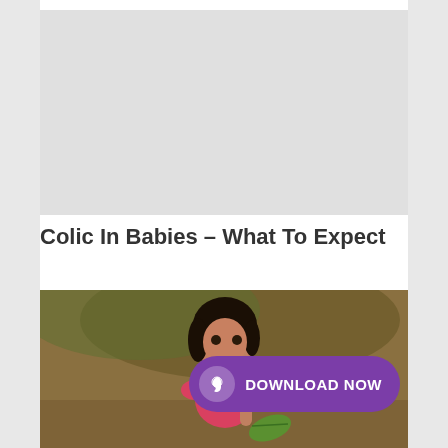[Figure (photo): Gray placeholder rectangle representing a photo at the top of the page]
Colic In Babies – What To Expect
[Figure (photo): Photo of a young girl with dark hair wearing a pink top, holding a green leaf, with a blurred outdoor background. Overlaid with a purple 'DOWNLOAD NOW' button with a hand icon.]